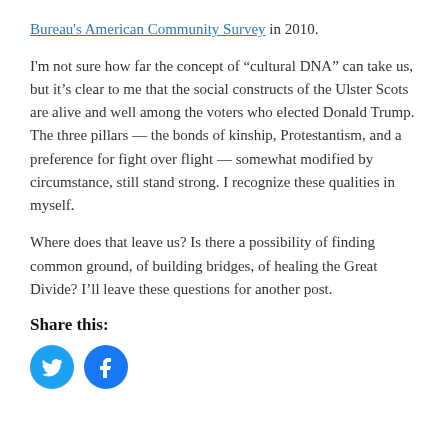Bureau's American Community Survey in 2010.
I'm not sure how far the concept of “cultural DNA” can take us, but it’s clear to me that the social constructs of the Ulster Scots are alive and well among the voters who elected Donald Trump. The three pillars — the bonds of kinship, Protestantism, and a preference for fight over flight — somewhat modified by circumstance, still stand strong. I recognize these qualities in myself.
Where does that leave us? Is there a possibility of finding common ground, of building bridges, of healing the Great Divide? I’ll leave these questions for another post.
Share this:
[Figure (other): Twitter and Facebook social share icon buttons (circular blue icons)]